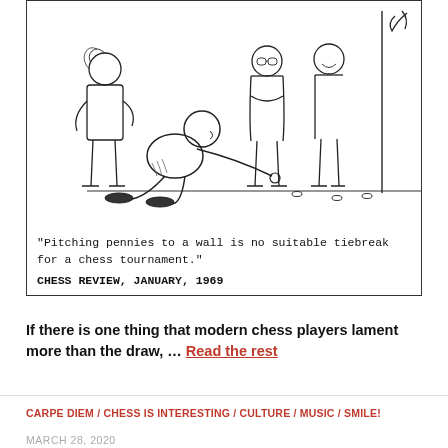[Figure (illustration): A cartoon illustration showing a person crouching and pitching pennies against a wall while other figures watch, drawn in black ink line art style.]
"Pitching pennies to a wall is no suitable tiebreak for a chess tournament."
CHESS REVIEW, JANUARY, 1969
If there is one thing that modern chess players lament more than the draw, … Read the rest
CARPE DIEM / CHESS IS INTERESTING / CULTURE / MUSIC / SMILE!
MARCH 28, 2020